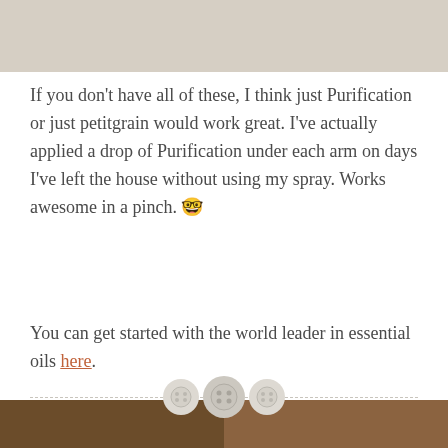[Figure (photo): Top portion of a photo showing a blurred beige/cream background, cropped at top of page]
If you don't have all of these, I think just Purification or just petitgrain would work great. I've actually applied a drop of Purification under each arm on days I've left the house without using my spray. Works awesome in a pinch. 🤓
You can get started with the world leader in essential oils here.
[Figure (illustration): Decorative divider with dashed line and three button/circle icons in the center]
[Figure (photo): Bottom portion showing two side-by-side photos of wooden surfaces or furniture, cropped at bottom of page]